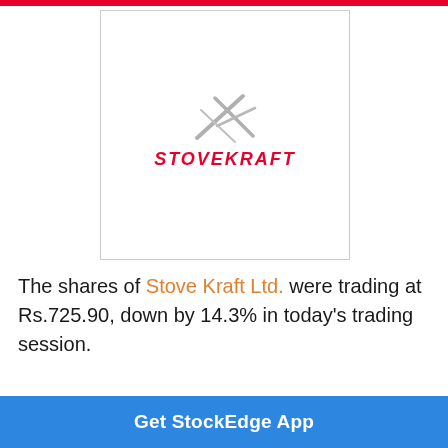[Figure (logo): Stove Kraft Ltd. company logo with a grey star/spark graphic above the red italic text 'STOVEKRAFT']
The shares of Stove Kraft Ltd. were trading at Rs.725.90, down by 14.3% in today's trading session.
The stock trading of the year were recorded at
Get StockEdge App